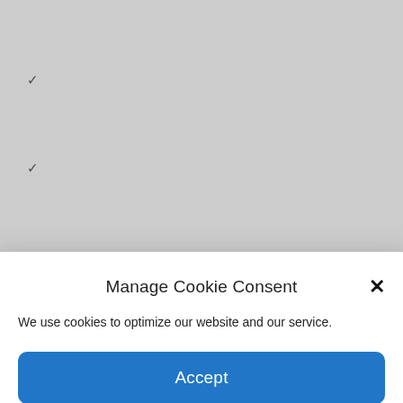✓
✓
[Figure (screenshot): Manage Cookie Consent modal dialog with Accept button and Privacy Policy link]
✓
Gluten Free
✓